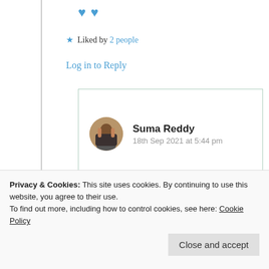[Figure (illustration): Two blue heart emoji icons side by side]
★ Liked by 2 people
Log in to Reply
Suma Reddy
18th Sep 2021 at 5:44 pm
Loves and many many thanks dear
Privacy & Cookies: This site uses cookies. By continuing to use this website, you agree to their use.
To find out more, including how to control cookies, see here: Cookie Policy
Close and accept
Log in to Reply